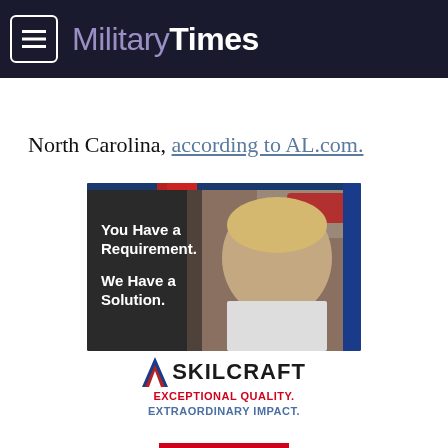Military Times
North Carolina, according to AL.com.
[Figure (photo): SKILCRAFT advertisement showing a young man smiling at camera with text 'You Have a Requirement. We Have a Solution.' and the SKILCRAFT logo with taglines 'EXCEPTIONAL QUALITY. EXTRAORDINARY IMPACT.']